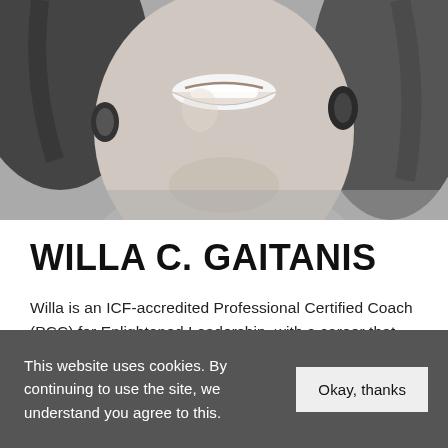[Figure (photo): Black and white close-up photo of Willa C. Gaitanis, a woman smiling, wearing hoop earrings, with dark hair.]
WILLA C. GAITANIS
Willa is an ICF-accredited Professional Certified Coach (PCC) for Enlightened Leadership, with a career that includes 21 years in the private sector and 27 years in the U.S. Federal Government. So she knows, in this increasingly
This website uses cookies. By continuing to use the site, we understand you agree to this.
Okay, thanks